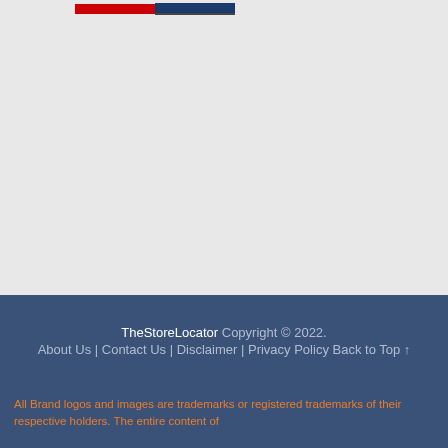TheStoreLocator navigation bar
TheStoreLocator Copyright © 2022. About Us | Contact Us | Disclaimer | Privacy Policy Back to Top ↑
All Brand logos and images are trademarks or registered trademarks of their respective holders. The entire content of